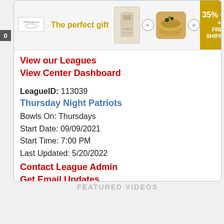[Figure (screenshot): Advertisement banner showing 'The perfect gift' with product images and '35% OFF + FREE SHIPPING' promo badge]
View our Leagues
View Center Dashboard
LeagueID: 113039
Thursday Night Patriots
Bowls On: Thursdays
Start Date: 09/09/2021
Start Time: 7:00 PM
Last Updated: 5/20/2022
Contact League Admin
Get Email Updates
View League Dashboard
FEATURED VIDEOS